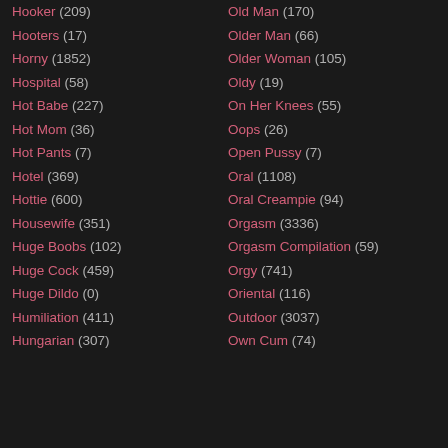Hooker (209)
Hooters (17)
Horny (1852)
Hospital (58)
Hot Babe (227)
Hot Mom (36)
Hot Pants (7)
Hotel (369)
Hottie (600)
Housewife (351)
Huge Boobs (102)
Huge Cock (459)
Huge Dildo (0)
Humiliation (411)
Hungarian (307)
Old Man (170)
Older Man (66)
Older Woman (105)
Oldy (19)
On Her Knees (55)
Oops (26)
Open Pussy (7)
Oral (1108)
Oral Creampie (94)
Orgasm (3336)
Orgasm Compilation (59)
Orgy (741)
Oriental (116)
Outdoor (3037)
Own Cum (74)